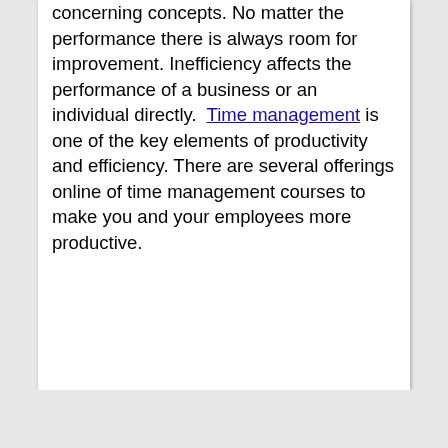concerning concepts. No matter the performance there is always room for improvement. Inefficiency affects the performance of a business or an individual directly. Time management is one of the key elements of productivity and efficiency. There are several offerings online of time management courses to make you and your employees more productive.